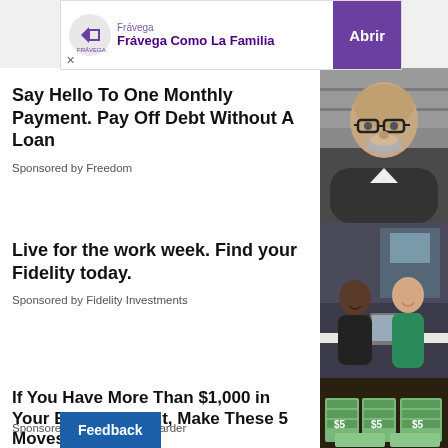[Figure (screenshot): Frávega banner ad with logo, tagline 'Frávega Como La Familia', and purple 'Abrir' button]
Say Hello To One Monthly Payment. Pay Off Debt Without A Loan
Sponsored by Freedom
[Figure (photo): Middle-aged bald man with glasses and beard, professional setting]
Live for the work week. Find your Fidelity today.
Sponsored by Fidelity Investments
[Figure (photo): Two women at a table with a laptop in an office setting]
If You Have More Than $1,000 in Your Bank Account, Make These 5 Moves
Sponsored by The Penny Hoarder
[Figure (photo): Stacks of $5 and $20 US dollar bills on a dark surface]
Feedback